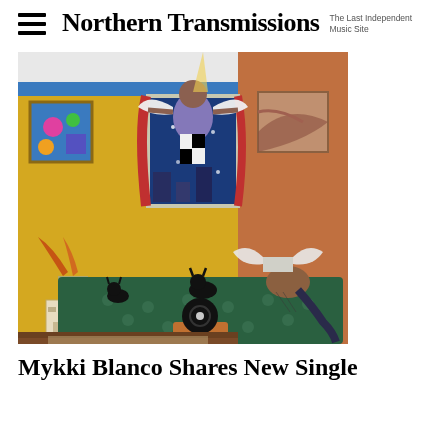Northern Transmissions — The Last Independent Music Site
[Figure (illustration): Album art illustration showing a bedroom scene with an angel figure floating near a window with a starry night view, a person lying on a green patterned bed reading, black cats, a record player, and colorful painted walls.]
Mykki Blanco Shares New Single